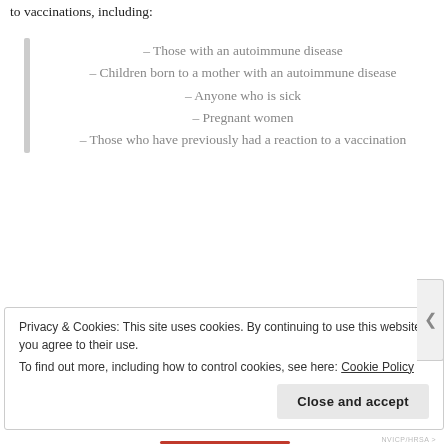to vaccinations, including:
– Those with an autoimmune disease
– Children born to a mother with an autoimmune disease
– Anyone who is sick
– Pregnant women
– Those who have previously had a reaction to a vaccination
One size does not fit all
Clearly, vaccinations are not the right choice for everyone, and each family should decide what is right for them and their children. When parents are aware of vaccine contraindications, they can make informed and safer choices for their children.
Privacy & Cookies: This site uses cookies. By continuing to use this website, you agree to their use.
To find out more, including how to control cookies, see here: Cookie Policy